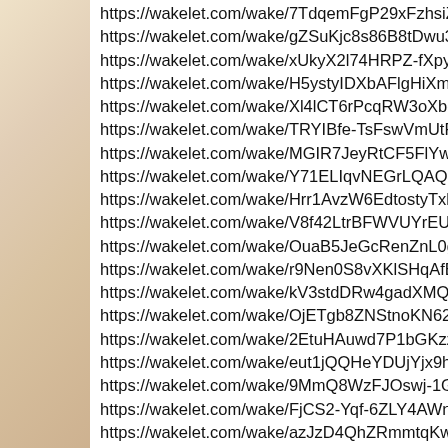https://wakelet.com/wake/7TdqemFgP29xFzhsiZ08q
https://wakelet.com/wake/gZSuKjc8s86B8tDwu3kMl
https://wakelet.com/wake/xUkyX2l74HRPZ-fXpyEkw
https://wakelet.com/wake/H5ystyIDXbAFlgHiXm-0o
https://wakelet.com/wake/Xl4lCT6rPcqRW3oXbdWx0
https://wakelet.com/wake/TRYIBfe-TsFswVmUtFHF6
https://wakelet.com/wake/MGIR7JeyRtCF5FlYw-woo
https://wakelet.com/wake/Y71ELIqvNEGrLQAQ7pNio
https://wakelet.com/wake/Hrr1AvzW6EdtostyTxlQq
https://wakelet.com/wake/V8f42LtrBFWVUYrEU7zsg
https://wakelet.com/wake/OuaB5JeGcRenZnL0g1y3G
https://wakelet.com/wake/r9Nen0S8vXKlSHqAfEO2v
https://wakelet.com/wake/kV3stdDRw4gadXMQwteNs
https://wakelet.com/wake/OjETgb8ZNStnoKN624aU-
https://wakelet.com/wake/2EtuHAuwd7P1bGKzzegLx
https://wakelet.com/wake/eut1jQQHeYDUjYjx9hNm7
https://wakelet.com/wake/9MmQ8WzFJOswj-1GeFHz
https://wakelet.com/wake/FjCS2-Yqf-6ZLY4AWnlrE
https://wakelet.com/wake/azJzD4QhZRmmtqKwlTFIL